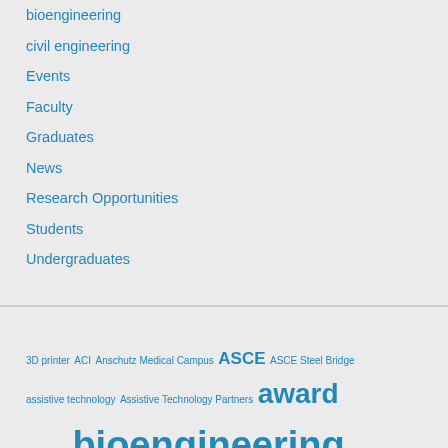bioengineering
civil engineering
Events
Faculty
Graduates
News
Research Opportunities
Students
Undergraduates
3D printer ACI Anschutz Medical Campus ASCE ASCE Steel Bridge assistive technology Assistive Technology Partners award awards bioengineering bioscience 2 bridges